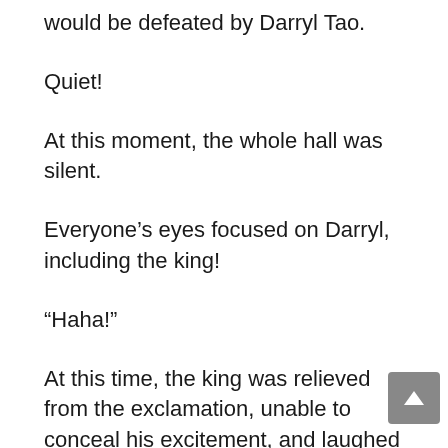would be defeated by Darryl Tao.
Quiet!
At this moment, the whole hall was silent.
Everyone's eyes focused on Darryl, including the king!
“Haha!”
At this time, the king was relieved from the exclamation, unable to conceal his excitement, and laughed at Darryl: “Yes, yes, this painting by Darryl Tao can be called the best of the finest works. Hang the painting in the inner hall and keep it as a Chinese painting.”